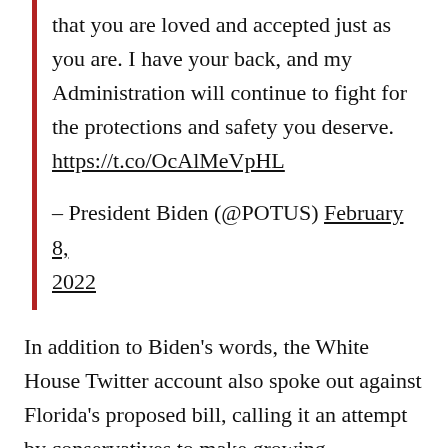that you are loved and accepted just as you are. I have your back, and my Administration will continue to fight for the protections and safety you deserve. https://t.co/OcAlMeVpHL
– President Biden (@POTUS) February 8, 2022
In addition to Biden's words, the White House Twitter account also spoke out against Florida's proposed bill, calling it an attempt by conservatives to make growing